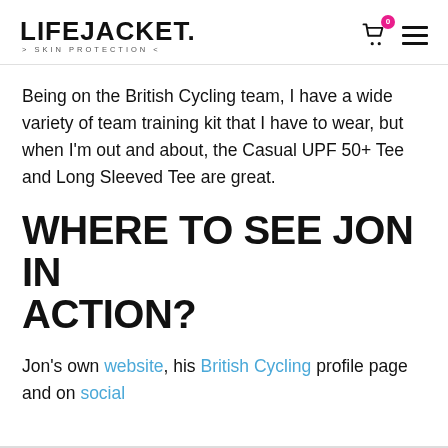LIFEJACKET. > SKIN PROTECTION <
Being on the British Cycling team, I have a wide variety of team training kit that I have to wear, but when I'm out and about, the Casual UPF 50+ Tee and Long Sleeved Tee are great.
WHERE TO SEE JON IN ACTION?
Jon's own website, his British Cycling profile page and on social